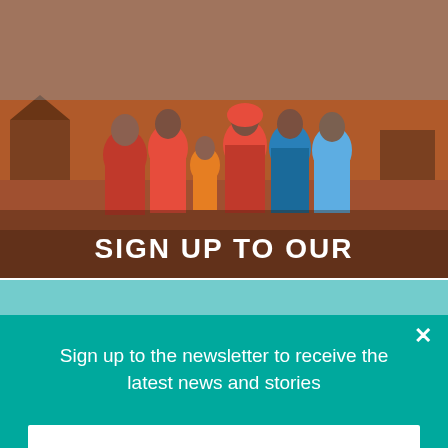[Figure (photo): Group of African women and girls standing together outdoors in a village setting, wearing colorful red and blue clothing]
SIGN UP TO OUR
This site uses session, functional, analytics and
Sign up to the newsletter to receive the latest news and stories